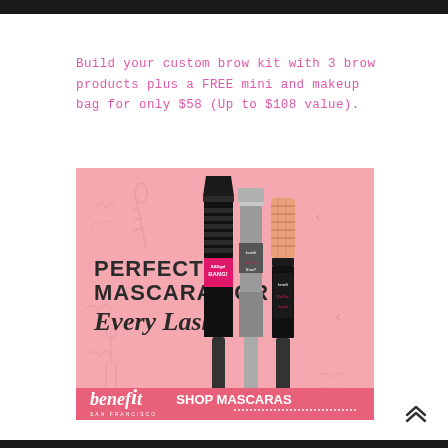Build your custom brow kit with 3 brow products plus a FREE mini and makeup bag for only $58 (Up to $108 value).
[Figure (photo): Benefit Cosmetics advertisement on pink background showing three mascara products (BADgal BANG!, they're Real!, Roller Lash) with text 'PERFECT MASCARA FOR Every Lash!' and 'SHOP MASCARAS' call to action with the benefit San Francisco logo.]